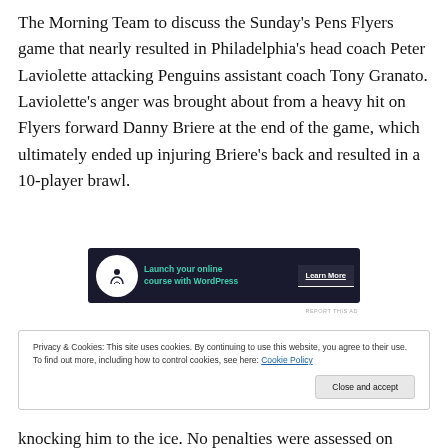The Morning Team to discuss the Sunday's Pens Flyers game that nearly resulted in Philadelphia's head coach Peter Laviolette attacking Penguins assistant coach Tony Granato. Laviolette's anger was brought about from a heavy hit on Flyers forward Danny Briere at the end of the game, which ultimately ended up injuring Briere's back and resulted in a 10-player brawl.
[Figure (other): Advertisement banner: dark navy background with WordPress online course ad. Shows a person meditating icon, text 'Launch your online course with WordPress' in teal, and a 'Learn More' button.]
REPORT THIS AD
Privacy & Cookies: This site uses cookies. By continuing to use this website, you agree to their use.
To find out more, including how to control cookies, see here: Cookie Policy

Close and accept
knocking him to the ice. No penalties were assessed on